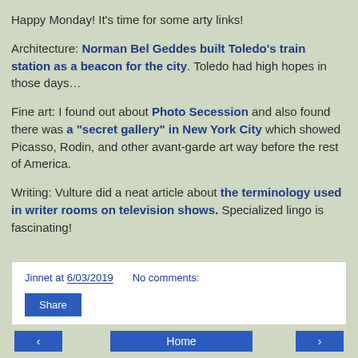Happy Monday! It's time for some arty links!
Architecture: Norman Bel Geddes built Toledo's train station as a beacon for the city. Toledo had high hopes in those days…
Fine art: I found out about Photo Secession and also found there was a "secret gallery" in New York City which showed Picasso, Rodin, and other avant-garde art way before the rest of America.
Writing: Vulture did a neat article about the terminology used in writer rooms on television shows. Specialized lingo is fascinating!
Jinnet at 6/03/2019    No comments:
Share
◁  Home  ▷